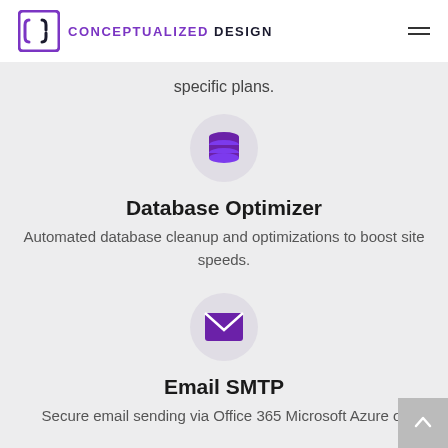CONCEPTUALIZED DESIGN
specific plans.
[Figure (illustration): Purple database stack icon inside a light gray circle]
Database Optimizer
Automated database cleanup and optimizations to boost site speeds.
[Figure (illustration): Purple envelope icon inside a light gray circle]
Email SMTP
Secure email sending via Office 365 Microsoft Azure or